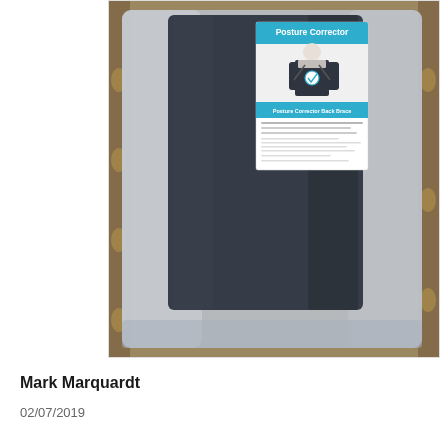[Figure (photo): A posture corrector product in a clear/grey plastic polybag on a patterned rug/carpet surface. A white product label is visible on the dark garment inside the bag. The label reads 'Posture Corrector' in blue with an image of a person wearing the back brace, and 'Posture Corrector Back Brace' below.]
Mark Marquardt
02/07/2019